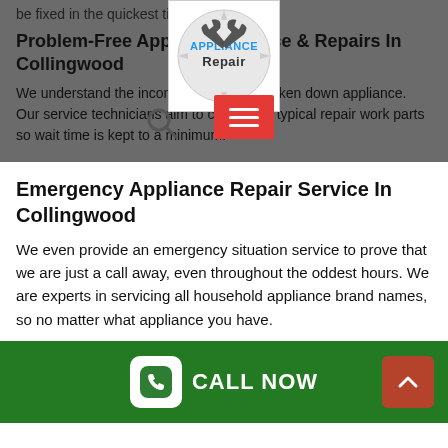be fixed in the quickest time possible.
[Figure (logo): Appliance Repair logo with wrench icons and gear background]
Problem-Free Appliance Service & Repairs In Collingwood
We understand the inconvenience of a broken down appliance. Our service technicians aim to carry most typical repair work parts so wait time is kept to a minimum.
Emergency Appliance Repair Service In Collingwood
We even provide an emergency situation service to prove that we are just a call away, even throughout the oddest hours. We are experts in servicing all household appliance brand names, so no matter what appliance you have.
CALL NOW